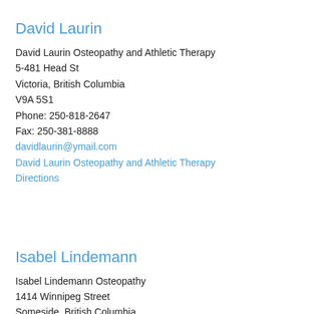David Laurin
David Laurin Osteopathy and Athletic Therapy
5-481 Head St
Victoria, British Columbia
V9A 5S1
Phone: 250-818-2647
Fax: 250-381-8888
davidlaurin@ymail.com
David Laurin Osteopathy and Athletic Therapy
Directions
Isabel Lindemann
Isabel Lindemann Osteopathy
1414 Winnipeg Street
Someside, British Columbia